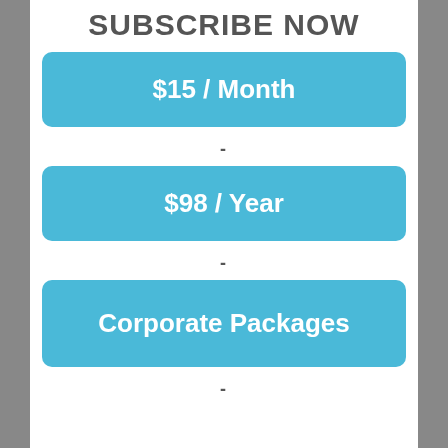SUBSCRIBE NOW
$15 / Month
-
$98 / Year
-
Corporate Packages
-